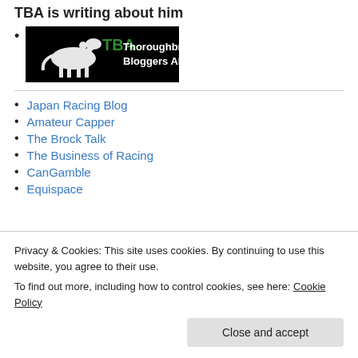TBA is writing about him
[TBA Thoroughbred Bloggers Alliance logo]
Japan Racing Blog
Amateur Capper
The Brock Talk
The Business of Racing
CanGamble
Equispace
Privacy & Cookies: This site uses cookies. By continuing to use this website, you agree to their use.
To find out more, including how to control cookies, see here: Cookie Policy
Close and accept